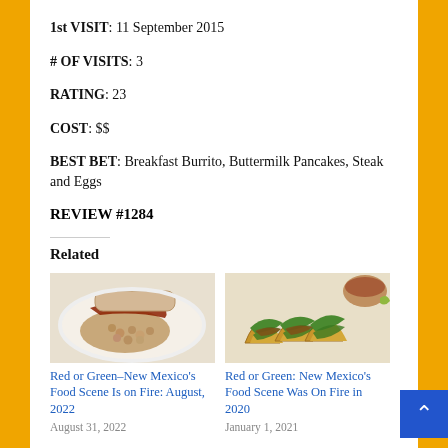1st VISIT: 11 September 2015
# OF VISITS: 3
RATING: 23
COST: $$
BEST BET: Breakfast Burrito, Buttermilk Pancakes, Steak and Eggs
REVIEW #1284
Related
[Figure (photo): Photo of a plate with beans, burrito and red sauce]
Red or Green–New Mexico's Food Scene Is on Fire: August, 2022
August 31, 2022
[Figure (photo): Photo of tacos with greens on a plate with a small bowl of sauce]
Red or Green: New Mexico's Food Scene Was On Fire in 2020
January 1, 2021